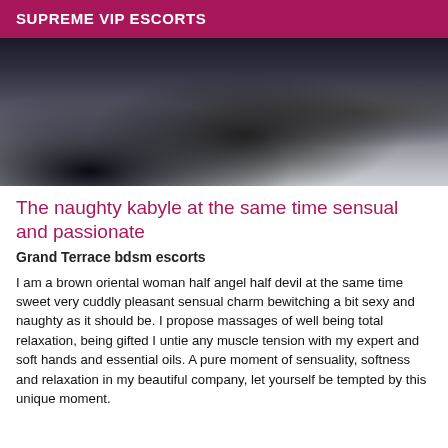SUPREME VIP ESCORTS
[Figure (photo): Close-up photo of legs in dark stockings/hosiery on white bedding, dimly lit]
The naughty kabyle at the same time sensual and passionate
Grand Terrace bdsm escorts
I am a brown oriental woman half angel half devil at the same time sweet very cuddly pleasant sensual charm bewitching a bit sexy and naughty as it should be. I propose massages of well being total relaxation, being gifted I untie any muscle tension with my expert and soft hands and essential oils. A pure moment of sensuality, softness and relaxation in my beautiful company, let yourself be tempted by this unique moment.